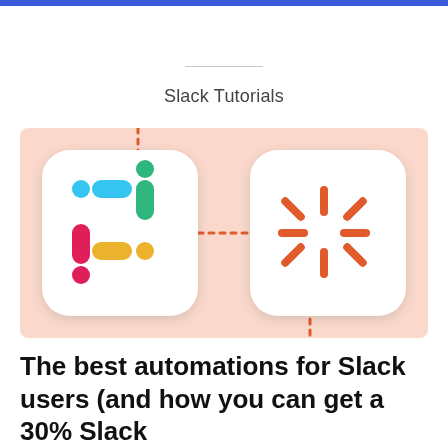Slack Tutorials
[Figure (illustration): Salmon/peach background card showing the Slack logo (colorful hash symbol with blue, green, pink, yellow pill shapes) on the left inside a white rounded-rectangle icon, connected by orange dotted lines to the Zapier logo (orange asterisk/snowflake star) on the right inside a white rounded-rectangle icon. Dotted orange lines run vertically from the top and bottom corners, and horizontally between the two icons.]
The best automations for Slack users (and how you can get a 30% Slack